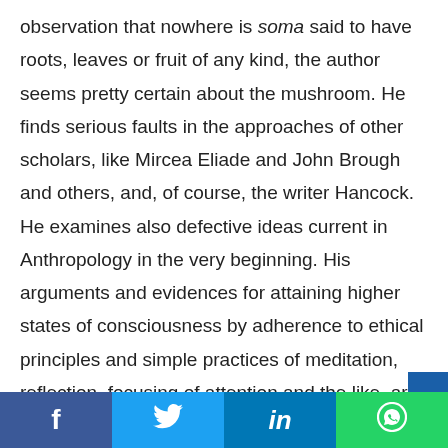observation that nowhere is soma said to have roots, leaves or fruit of any kind, the author seems pretty certain about the mushroom. He finds serious faults in the approaches of other scholars, like Mircea Eliade and John Brough and others, and, of course, the writer Hancock. He examines also defective ideas current in Anthropology in the very beginning. His arguments and evidences for attaining higher states of consciousness by adherence to ethical principles and simple practices of meditation, reflection, focusing of attention and the like, are most
Facebook | Twitter | LinkedIn | WhatsApp